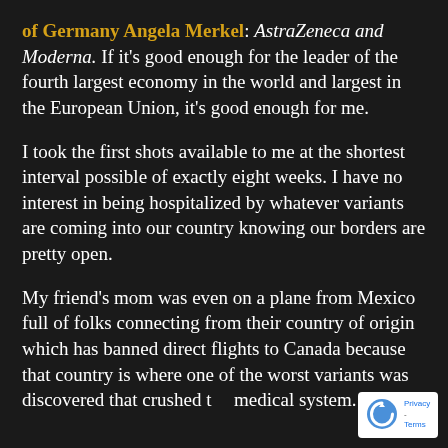of Germany Angela Merkel: AstraZeneca and Moderna. If it's good enough for the leader of the fourth largest economy in the world and largest in the European Union, it's good enough for me.
I took the first shots available to me at the shortest interval possible of exactly eight weeks. I have no interest in being hospitalized by whatever variants are coming into our country knowing our borders are pretty open.
My friend's mom was even on a plane from Mexico full of folks connecting from their country of origin which has banned direct flights to Canada because that country is where one of the worst variants was discovered that crushed the medical system.